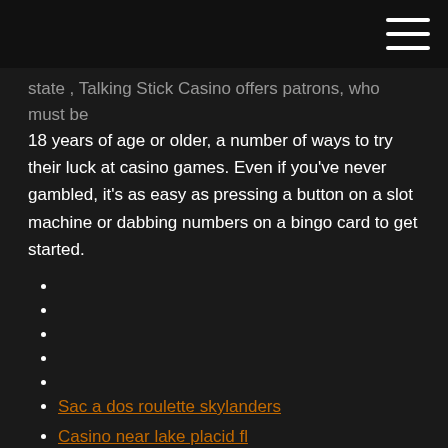[navigation bar with hamburger menu]
state , Talking Stick Casino offers patrons, who must be 18 years of age or older, a number of ways to try their luck at casino games. Even if you've never gambled, it's as easy as pressing a button on a slot machine or dabbing numbers on a bingo card to get started.
Sac a dos roulette skylanders
Casino near lake placid fl
Lake murray oklahoma poker run
Lenovo yoga 13 ssd slot